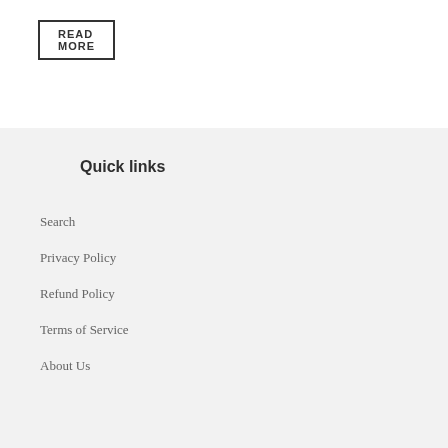READ MORE
Quick links
Search
Privacy Policy
Refund Policy
Terms of Service
About Us